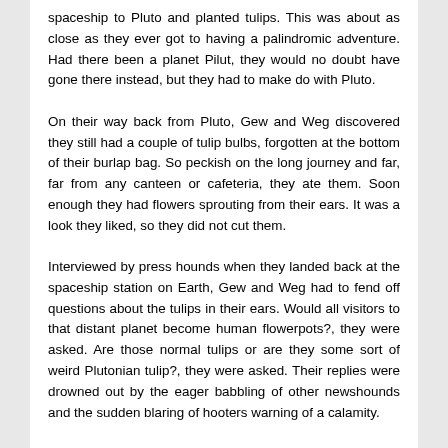spaceship to Pluto and planted tulips. This was about as close as they ever got to having a palindromic adventure. Had there been a planet Pilut, they would no doubt have gone there instead, but they had to make do with Pluto. On their way back from Pluto, Gew and Weg discovered they still had a couple of tulip bulbs, forgotten at the bottom of their burlap bag. So peckish on the long journey and far, far from any canteen or cafeteria, they ate them. Soon enough they had flowers sprouting from their ears. It was a look they liked, so they did not cut them. Interviewed by press hounds when they landed back at the spaceship station on Earth, Gew and Weg had to fend off questions about the tulips in their ears. Would all visitors to that distant planet become human flowerpots?, they were asked. Are those normal tulips or are they some sort of weird Plutonian tulip?, they were asked. Their replies were drowned out by the eager babbling of other newshounds and the sudden blaring of hooters warning of a calamity. Gew and Weg always liked to intervene in cases of imminent calamity, so they cut the press conference short